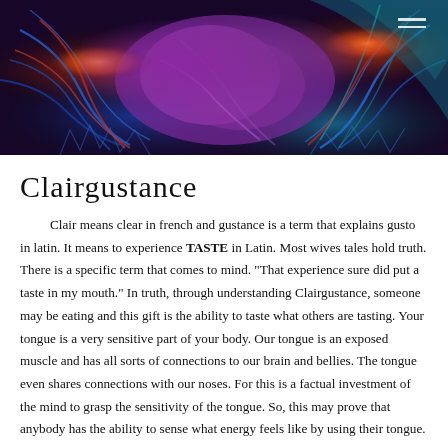[Figure (illustration): Abstract digital art showing glowing purple, blue, red, and teal organic forms resembling veins or neural tissue against a dark background. Hamburger menu icon (three horizontal lines) visible in the top-right corner.]
Clairgustance
Clair means clear in french and gustance is a term that explains gusto in latin. It means to experience TASTE in Latin. Most wives tales hold truth. There is a specific term that comes to mind. "That experience sure did put a taste in my mouth." In truth, through understanding Clairgustance, someone may be eating and this gift is the ability to taste what others are tasting. Your tongue is a very sensitive part of your body. Our tongue is an exposed muscle and has all sorts of connections to our brain and bellies. The tongue even shares connections with our noses. For this is a factual investment of the mind to grasp the sensitivity of the tongue. So, this may prove that anybody has the ability to sense what energy feels like by using their tongue.